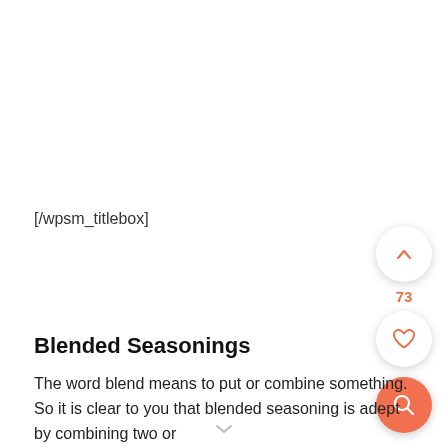[/wpsm_titlebox]
Blended Seasonings
The word blend means to put or combine something. So it is clear to you that blended seasoning is adept by combining two or more elements of...